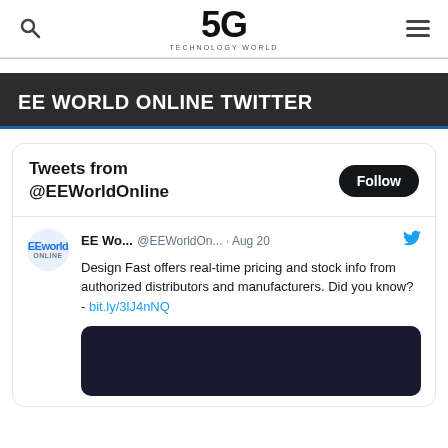5G TECHNOLOGY WORLD
EE WORLD ONLINE TWITTER
Tweets from @EEWorldOnline
EE Wo... @EEWorldOn... · Aug 20 Design Fast offers real-time pricing and stock info from authorized distributors and manufacturers. Did you know? - bit.ly/3lJ4nNQ
[Figure (screenshot): Dark image thumbnail embedded in tweet]